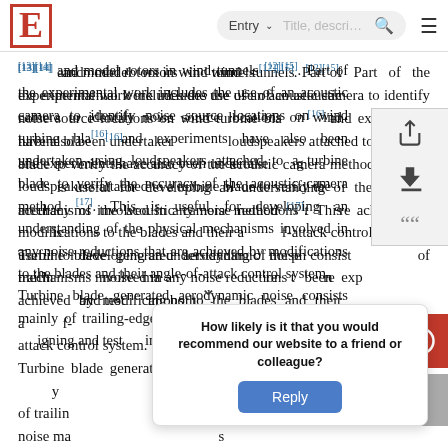E [logo] | Entry search bar
[13][14] and model rotors in wind tunnels [12][15]. Part of the experimental work includes the use of an acoustic camera to identify noise source locations on wind turbine blades [16] and experiments have also been undertaken using loudspeakers attached to a turbine blade to verify the accuracy of the acoustic camera method [17]. This is useful for developing an understanding of the physical mechanisms involved in any noise reductions that are achieved by modifications to the blades and their angle-of-attack control system.
Turbine blade generated aerodynamic noise consists mainly of trailing-edge noise mainly because there are has been experimentally designing and test both
[Figure (screenshot): UI overlay panel with share, download, and quote icons]
[Figure (screenshot): Red help/question mark circular button]
[Figure (screenshot): Survey popup: How likely is it that you would recommend our website to a friend or colleague? with Reply button]